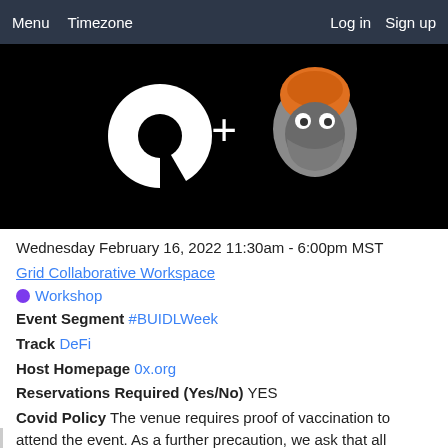Menu  Timezone  Log in  Sign up
[Figure (illustration): Dark background banner image showing the 0x protocol logo (white broken circle) plus sign and a cartoon character with orange hair wearing a grey hoodie/mask]
Wednesday February 16, 2022 11:30am - 6:00pm MST
Grid Collaborative Workspace
Workshop
Event Segment #BUIDLWeek
Track DeFi
Host Homepage 0x.org
Reservations Required (Yes/No) YES
Covid Policy The venue requires proof of vaccination to attend the event. As a further precaution, we ask that all attendees wear a mask while not actively eating or drinking.